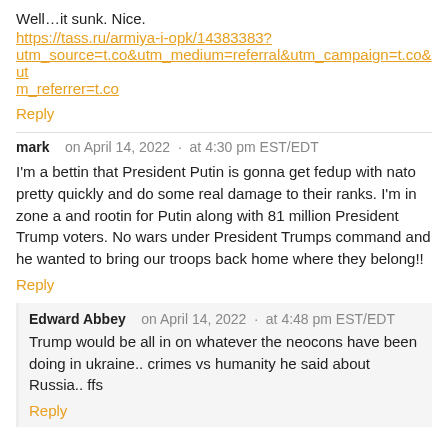Well…it sunk. Nice.
https://tass.ru/armiya-i-opk/14383383?utm_source=t.co&utm_medium=referral&utm_campaign=t.co&utm_referrer=t.co
Reply
mark   on April 14, 2022  ·  at 4:30 pm EST/EDT
I'm a bettin that President Putin is gonna get fedup with nato pretty quickly and do some real damage to their ranks. I'm in zone a and rootin for Putin along with 81 million President Trump voters. No wars under President Trumps command and he wanted to bring our troops back home where they belong!!
Reply
Edward Abbey   on April 14, 2022  ·  at 4:48 pm EST/EDT
Trump would be all in on whatever the neocons have been doing in ukraine.. crimes vs humanity he said about Russia.. ffs
Reply